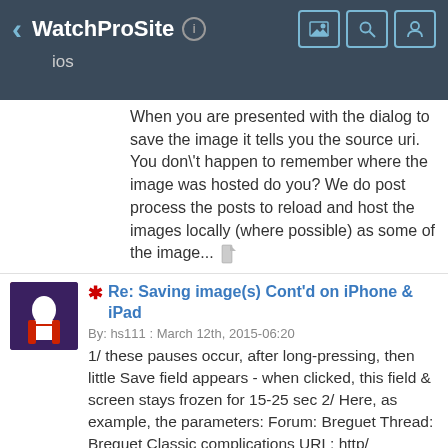WatchProSite • ios
When you are presented with the dialog to save the image it tells you the source uri. You don\'t happen to remember where the image was hosted do you? We do post process the posts to reload and host the images locally (where possible) as some of the image...
Re: Saving image(s) Cont'd on iPhone & iPad
By: hs111 : March 12th, 2015-06:20
1/ these pauses occur, after long-pressing, then little Save field appears - when clicked, this field & screen stays frozen for 15-25 sec 2/ Here, as example, the parameters: Forum: Breguet Thread: Breguet Classic complications URL: http/ watchprosite/bre...
It's pretty much instantaneous for me here.
By: carl : March 12th, 2015-07:37
I\'ll look into putting up some more progress info to tell us what it\'s up to.
This is a long title with lots of text This is a long title with lots of text